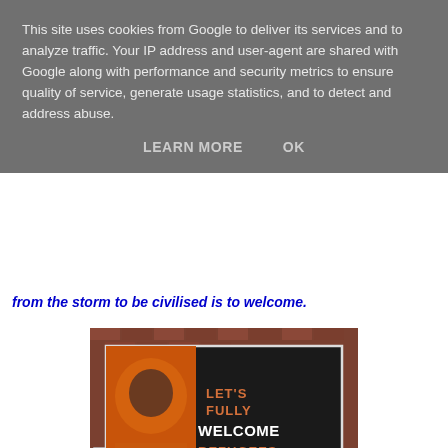This site uses cookies from Google to deliver its services and to analyze traffic. Your IP address and user-agent are shared with Google along with performance and security metrics to ensure quality of service, generate usage statistics, and to detect and address abuse.
LEARN MORE    OK
from the storm to be civilised is to welcome.
[Figure (photo): A billboard on a brick wall showing a woman in an orange hijab on the left side, with text on the dark billboard reading 'LET'S FULLY WELCOME REFUGEES' with 'FULLY' and 'REFUGEES' in orange and 'WELCOME' in white. URL fullywelcome.eu shown at bottom right of billboard.]
on a wall in Amsterdam